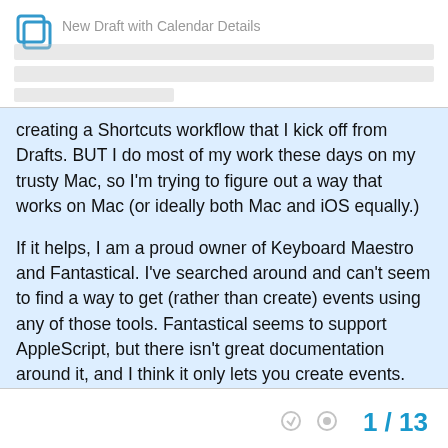New Draft with Calendar Details
creating a Shortcuts workflow that I kick off from Drafts. BUT I do most of my work these days on my trusty Mac, so I'm trying to figure out a way that works on Mac (or ideally both Mac and iOS equally.)
If it helps, I am a proud owner of Keyboard Maestro and Fantastical. I've searched around and can't seem to find a way to get (rather than create) events using any of those tools. Fantastical seems to support AppleScript, but there isn't great documentation around it, and I think it only lets you create events.
Any help would be really appreciated! To be honest, it's odd I haven't seen anyone else have a similar need out there? Seems like it would be a super handy Drafts action to have.
1 / 13